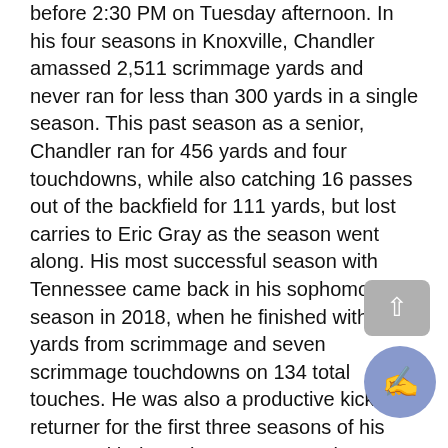before 2:30 PM on Tuesday afternoon. In his four seasons in Knoxville, Chandler amassed 2,511 scrimmage yards and never ran for less than 300 yards in a single season. This past season as a senior, Chandler ran for 456 yards and four touchdowns, while also catching 16 passes out of the backfield for 111 yards, but lost carries to Eric Gray as the season went along. His most successful season with Tennessee came back in his sophomore season in 2018, when he finished with 812 yards from scrimmage and seven scrimmage touchdowns on 134 total touches. He was also a productive kick returner for the first three seasons of his career with the Volunteers, averaging 22.3 yards per return and finding the endzone on his 35 career returns.